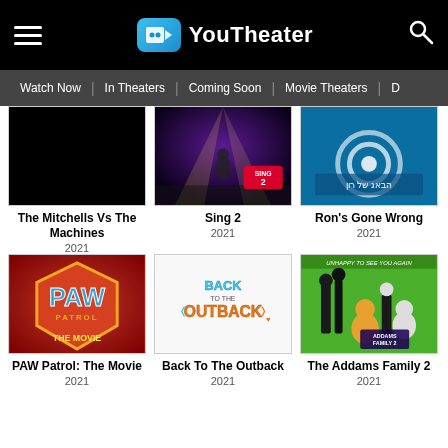YouTheater — Watch Now | In Theaters | Coming Soon | Movie Theaters
[Figure (screenshot): Movie thumbnail for The Mitchells Vs The Machines — black image]
The Mitchells Vs The Machines
2021
[Figure (screenshot): Movie thumbnail for Sing 2 — performer on stage]
Sing 2
2021
[Figure (screenshot): Movie thumbnail for Ron's Gone Wrong — teal background with Hebrew text]
Ron's Gone Wrong
2021
[Figure (screenshot): Movie thumbnail for PAW Patrol: The Movie — PAW logo]
PAW Patrol: The Movie
2021
[Figure (screenshot): Movie thumbnail for Back To The Outback — white background with logo]
Back To The Outback
2021
[Figure (screenshot): Movie thumbnail for The Addams Family 2 — characters on green background]
The Addams Family 2
2021